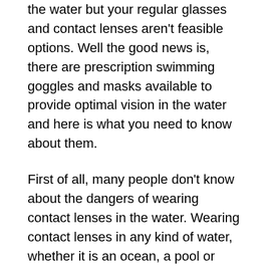the water but your regular glasses and contact lenses aren't feasible options. Well the good news is, there are prescription swimming goggles and masks available to provide optimal vision in the water and here is what you need to know about them.
First of all, many people don't know about the dangers of wearing contact lenses in the water. Wearing contact lenses in any kind of water, whether it is an ocean, a pool or even a shower, is risky because bacteria in the water could cause an infection if they get under your lens. Unless you are wearing a mask or goggles that are 100% sealed and don't let any water underneath, wearing contacts in the water is not recommended. If you do decide to wear contact lenses in the water, it is recommended to discard them immediately upon exiting the water.